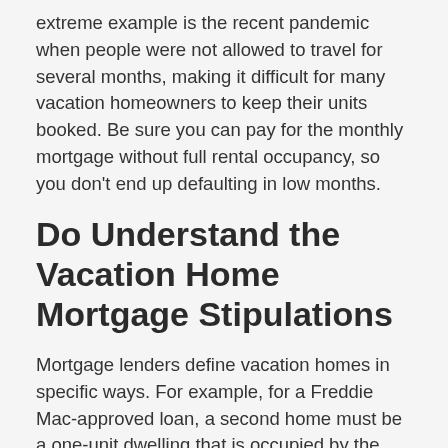extreme example is the recent pandemic when people were not allowed to travel for several months, making it difficult for many vacation homeowners to keep their units booked. Be sure you can pay for the monthly mortgage without full rental occupancy, so you don't end up defaulting in low months.
Do Understand the Vacation Home Mortgage Stipulations
Mortgage lenders define vacation homes in specific ways. For example, for a Freddie Mac-approved loan, a second home must be a one-unit dwelling that is occupied by the borrower for at least part of the year. It must be suitable for year-round occupancy, cannot be a timeshare, and potential rental income cannot be used to qualify for the mortgage. There are also different borrower qualifications for second homes than for primary residence, like lower debt-to-income ratios, higher credit scores, and greater